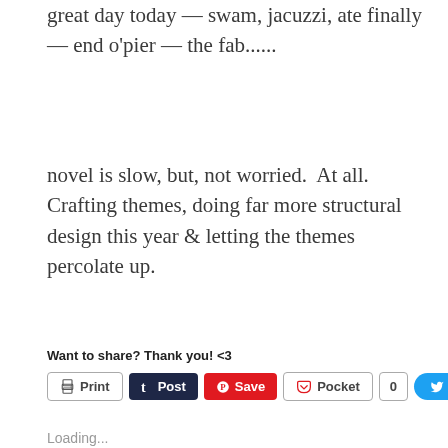great day today — swam, jacuzzi, ate finally — end o'pier — the fab......
novel is slow, but, not worried.  At all.  Crafting themes, doing far more structural design this year & letting the themes percolate up.
Want to share? Thank you! <3
[Figure (screenshot): Social sharing buttons: Print, Post (Tumblr), Save (Pinterest), Pocket with count 0, Tweet (Twitter)]
Loading...
Related